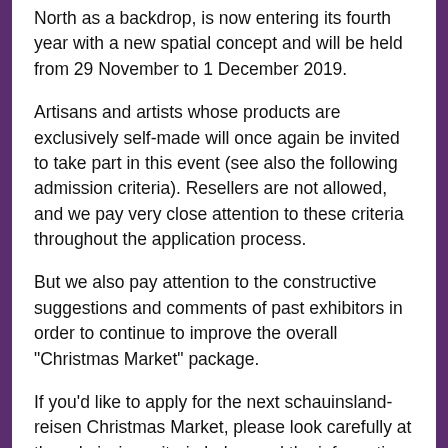North as a backdrop, is now entering its fourth year with a new spatial concept and will be held from 29 November to 1 December 2019.
Artisans and artists whose products are exclusively self-made will once again be invited to take part in this event (see also the following admission criteria). Resellers are not allowed, and we pay very close attention to these criteria throughout the application process.
But we also pay attention to the constructive suggestions and comments of past exhibitors in order to continue to improve the overall "Christmas Market" package.
If you'd like to apply for the next schauinsland-reisen Christmas Market, please look carefully at the admission criteria below and the information about the stands, conditions and dates/times, and then complete our